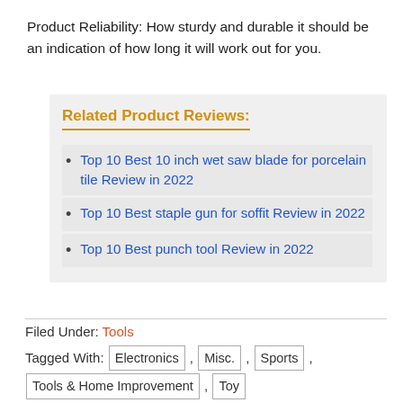Product Reliability: How sturdy and durable it should be an indication of how long it will work out for you.
Related Product Reviews:
Top 10 Best 10 inch wet saw blade for porcelain tile Review in 2022
Top 10 Best staple gun for soffit Review in 2022
Top 10 Best punch tool Review in 2022
Filed Under: Tools
Tagged With: Electronics , Misc. , Sports , Tools & Home Improvement , Toy